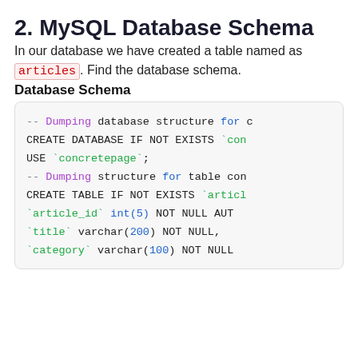2. MySQL Database Schema
In our database we have created a table named as articles. Find the database schema.
Database Schema
[Figure (screenshot): SQL code block showing MySQL database schema creation statements including CREATE DATABASE IF NOT EXISTS, USE concretepage, CREATE TABLE IF NOT EXISTS articles with fields article_id int(5) NOT NULL AUTO_INCREMENT, title varchar(200) NOT NULL, category varchar(100) NOT NULL]